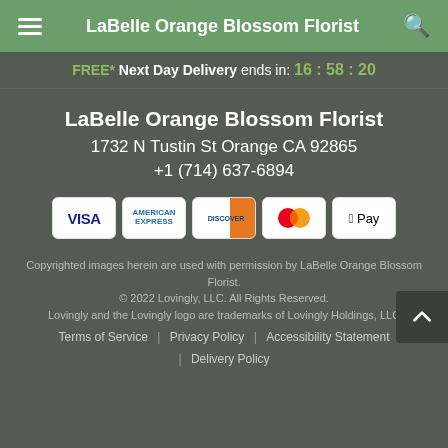LaBelle Orange Blossom Florist
FREE* Next Day Delivery ends in: 16:58:20
LaBelle Orange Blossom Florist
1732 N Tustin St Orange CA 92865
+1 (714) 637-6894
[Figure (infographic): Payment method icons: Visa, American Express, Discover, Mastercard, Apple Pay]
Copyrighted images herein are used with permission by LaBelle Orange Blossom Florist.
© 2022 Lovingly, LLC. All Rights Reserved.
Lovingly and the Lovingly logo are trademarks of Lovingly Holdings, LLC

Terms of Service | Privacy Policy | Accessibility Statement | Delivery Policy